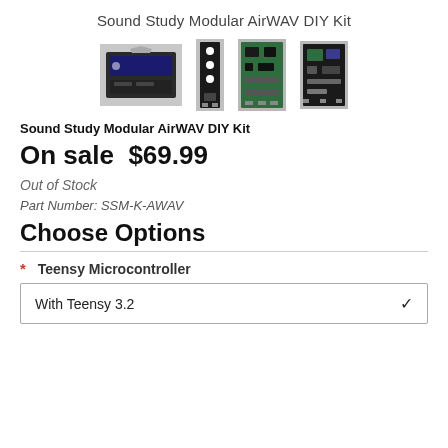Sound Study Modular AirWAV DIY Kit
[Figure (photo): Four product images of the Sound Study Modular AirWAV DIY Kit showing circuit boards and packaging]
Sound Study Modular AirWAV DIY Kit
On sale  $69.99
Out of Stock
Part Number: SSM-K-AWAV
Choose Options
* Teensy Microcontroller
With Teensy 3.2